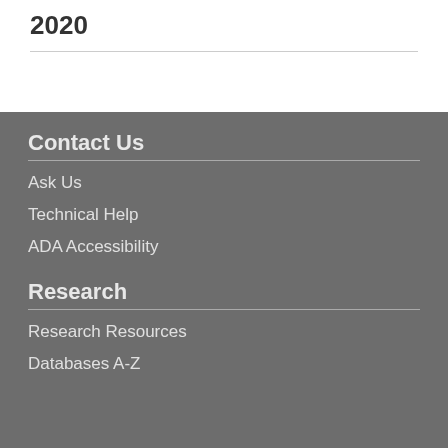2020
Contact Us
Ask Us
Technical Help
ADA Accessibility
Research
Research Resources
Databases A-Z